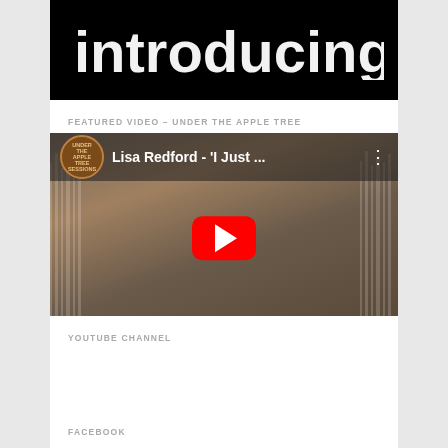[Figure (screenshot): Top portion of a video with white stylized text 'introducing...' on a black background]
FEATURED VIDEO – UNDER THE APPLE TREE
[Figure (screenshot): YouTube video thumbnail showing Lisa Redford - 'I Just ...' with a red play button, Under The Apple Tree Sessions logo, and a woman playing guitar in a library/record store setting]
YOUTUBE CHANNEL
FACEBOOK